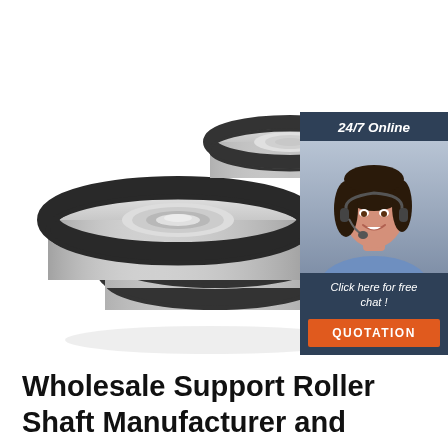[Figure (photo): Stack of four ball bearings (deep groove radial bearings) shown from a front-angle perspective, metallic silver with black rubber seals, stacked on top of each other.]
[Figure (photo): Chat widget: dark navy background with '24/7 Online' header in white italic text, photo of a smiling woman with dark hair wearing a headset and blue shirt, text 'Click here for free chat!' in white italic, and an orange 'QUOTATION' button.]
Wholesale Support Roller Shaft Manufacturer and